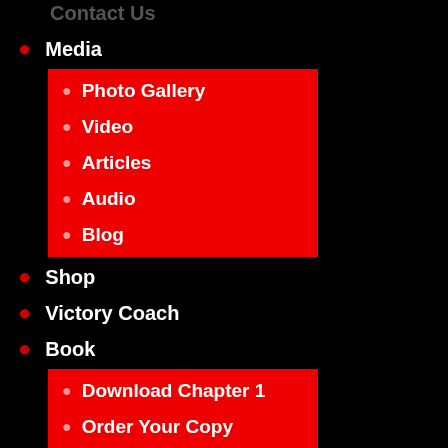Contact Us (partial, top)
Media
Photo Gallery
Video
Articles
Audio
Blog
Shop
Victory Coach
Book
Download Chapter 1
Order Your Copy
Articles
Contact Us
Podcast
Virginia Prodan Ministries
Contact us